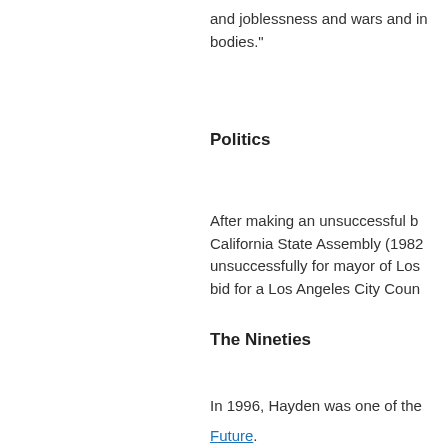and joblessness and wars and in bodies."
Politics
After making an unsuccessful bid for the California State Assembly (1982), he ran unsuccessfully for mayor of Los Angeles, bid for a Los Angeles City Council...
The Nineties
In 1996, Hayden was one of the
Future.